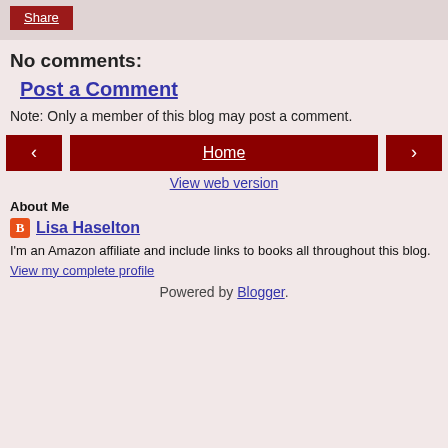Share
No comments:
Post a Comment
Note: Only a member of this blog may post a comment.
‹  Home  ›
View web version
About Me
Lisa Haselton
I'm an Amazon affiliate and include links to books all throughout this blog.
View my complete profile
Powered by Blogger.